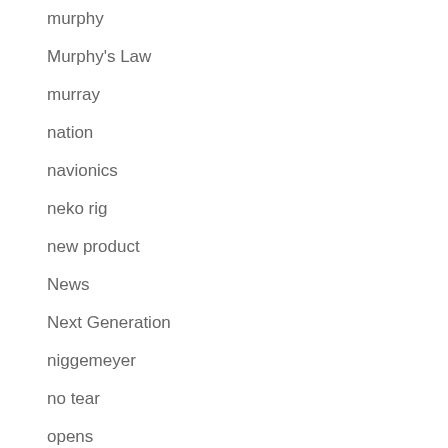murphy
Murphy's Law
murray
nation
navionics
neko rig
new product
News
Next Generation
niggemeyer
no tear
opens